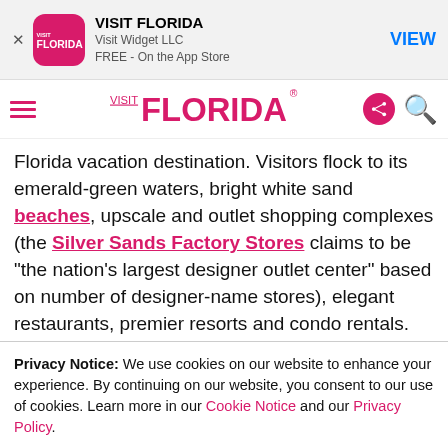[Figure (screenshot): App Store banner for VISIT FLORIDA app by Visit Widget LLC, FREE on the App Store with a VIEW button]
[Figure (logo): Visit Florida navigation bar with hamburger menu, VISIT FLORIDA logo in pink, share icon, and search icon]
Florida vacation destination. Visitors flock to its emerald-green waters, bright white sand beaches, upscale and outlet shopping complexes (the Silver Sands Factory Stores claims to be “the nation's largest designer outlet center” based on number of designer-name stores), elegant restaurants, premier resorts and condo rentals. Fishing and seafood are still popular; Destin Fishing Rodeo and Destin Seafood Festival draw big crowds each October.
Privacy Notice: We use cookies on our website to enhance your experience. By continuing on our website, you consent to our use of cookies. Learn more in our Cookie Notice and our Privacy Policy.